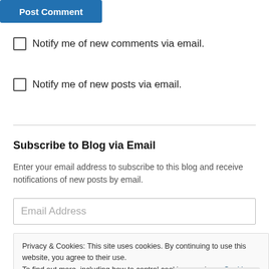[Figure (screenshot): Blue 'Post Comment' button partially visible at top of page]
Notify me of new comments via email.
Notify me of new posts via email.
Subscribe to Blog via Email
Enter your email address to subscribe to this blog and receive notifications of new posts by email.
[Figure (screenshot): Email Address input field placeholder]
Privacy & Cookies: This site uses cookies. By continuing to use this website, you agree to their use. To find out more, including how to control cookies, see here: Cookie Policy